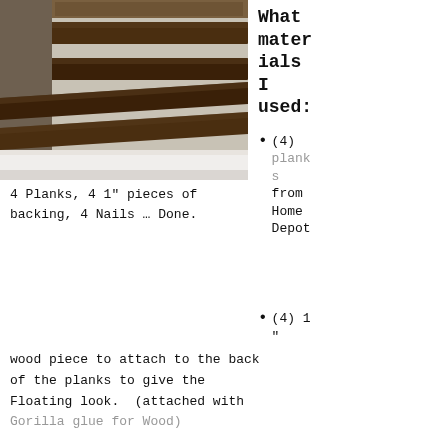[Figure (photo): A wood plank headboard with dark stained horizontal planks mounted on a wall above a bed with white bedding. The planks appear to float on the wall with gaps between them.]
What materials I used:
(4) planks from Home Depot
4 Planks, 4 1" pieces of backing, 4 Nails … Done.
(4) 1"
wood piece to attach to the back of the planks to give the Floating look.  (attached with Gorilla glue for Wood)